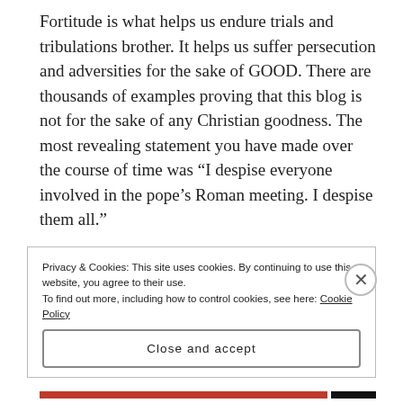Fortitude is what helps us endure trials and tribulations brother. It helps us suffer persecution and adversities for the sake of GOOD. There are thousands of examples proving that this blog is not for the sake of any Christian goodness. The most revealing statement you have made over the course of time was “I despise everyone involved in the pope’s Roman meeting. I despise them all.”
“I despise.” Yes, you do, that is all you do, and that is not a gift or fruit of the Spirit of our God.
Privacy & Cookies: This site uses cookies. By continuing to use this website, you agree to their use.
To find out more, including how to control cookies, see here: Cookie Policy
Close and accept